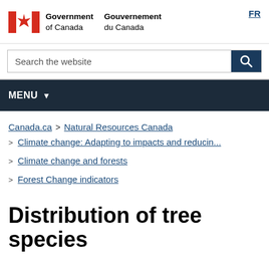[Figure (logo): Government of Canada / Gouvernement du Canada logo with Canadian flag (red maple leaf on white with red panels)]
Government of Canada  Gouvernement du Canada  FR
Search the website
MENU
Canada.ca > Natural Resources Canada
Climate change: Adapting to impacts and reducin...
Climate change and forests
Forest Change indicators
Distribution of tree species